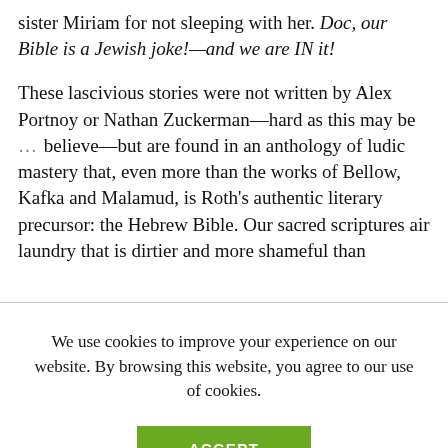sister Miriam for not sleeping with her. Doc, our Bible is a Jewish joke!—and we are IN it!
These lascivious stories were not written by Alex Portnoy or Nathan Zuckerman—hard as this may be … believe—but are found in an anthology of ludic mastery that, even more than the works of Bellow, Kafka and Malamud, is Roth's authentic literary precursor: the Hebrew Bible. Our sacred scriptures air laundry that is dirtier and more shameful than
We use cookies to improve your experience on our website. By browsing this website, you agree to our use of cookies.
ACCEPT